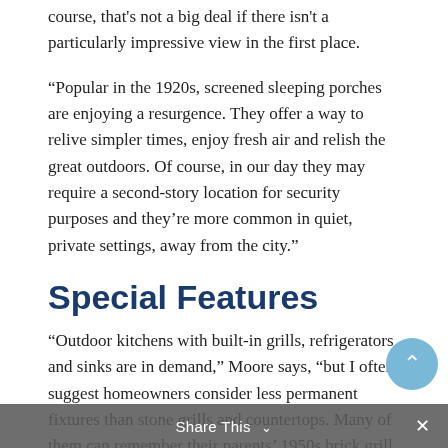course, that's not a big deal if there isn't a particularly impressive view in the first place.
“Popular in the 1920s, screened sleeping porches are enjoying a resurgence. They offer a way to relive simpler times, enjoy fresh air and relish the great outdoors. Of course, in our day they may require a second-story location for security purposes and they’re more common in quiet, private settings, away from the city.”
Special Features
“Outdoor kitchens with built-in grills, refrigerators and sinks are in demand,” Moore says, “but I often suggest homeowners consider less permanent fixtures than stone grills and countertops. Many of them can remember their parents’ 1950s brick grill